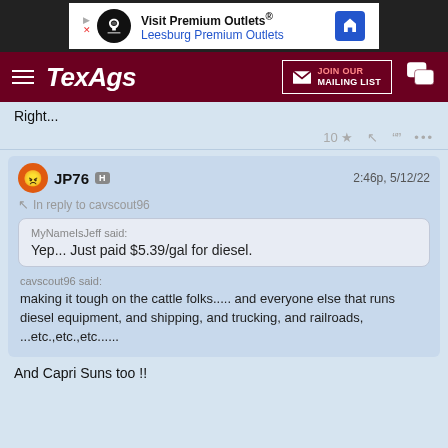[Figure (screenshot): Advertisement banner for Visit Premium Outlets / Leesburg Premium Outlets]
TexAgs — JOIN OUR MAILING LIST
Right...
10 ★ reply quote ...
JP76 H   2:46p, 5/12/22
In reply to cavscout96
MyNameIsJeff said: Yep... Just paid $5.39/gal for diesel.
cavscout96 said: making it tough on the cattle folks..... and everyone else that runs diesel equipment, and shipping, and trucking, and railroads, ...etc.,etc.,etc......
And Capri Suns too !!